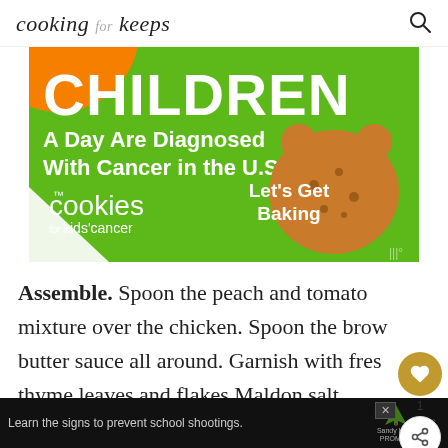cooking for keeps
[Figure (illustration): Advertisement banner for Cookies for Kids' Cancer on a green background. Large white text reads 'CHILDREN A Day Are Diagnosed With Cancer in the U.S.' with cookies for kids' cancer logo and 'Let's Get Baking' call to action. Orange circle in top left corner. Cookie image on right side.]
Assemble. Spoon the peach and tomato mixture over the chicken. Spoon the brown butter sauce all around. Garnish with fresh thyme leaves and flakes Maldon salt.
[Figure (infographic): Bottom advertisement banner on dark background: 'Learn the signs to prevent school shootings.' Sandy Hook Promise logo with tree icon.]